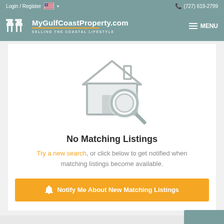Login / Register  (727) 619-2799
[Figure (logo): MyGulfCoastProperty.com logo with two Adirondack chairs icon, tagline SELLING THE COASTAL LIFESTYLE, and MENU hamburger button]
[Figure (illustration): House with magnifying glass icon indicating no search results]
No Matching Listings
Try a new search, or click below to get notified when matching listings become available.
🔔 Notify Me About New Matching Listings